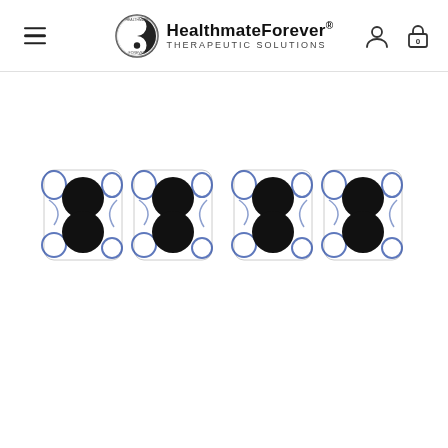HealthmateForever® THERAPEUTIC SOLUTIONS
[Figure (photo): Four white electrode pads with blue decorative pattern, each pad has two black circular electrode connectors arranged vertically, displayed in a row on white background]